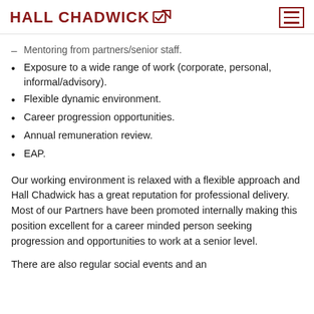HALL CHADWICK
Mentoring from partners/senior staff.
Exposure to a wide range of work (corporate, personal, informal/advisory).
Flexible dynamic environment.
Career progression opportunities.
Annual remuneration review.
EAP.
Our working environment is relaxed with a flexible approach and Hall Chadwick has a great reputation for professional delivery. Most of our Partners have been promoted internally making this position excellent for a career minded person seeking progression and opportunities to work at a senior level.
There are also regular social events and an